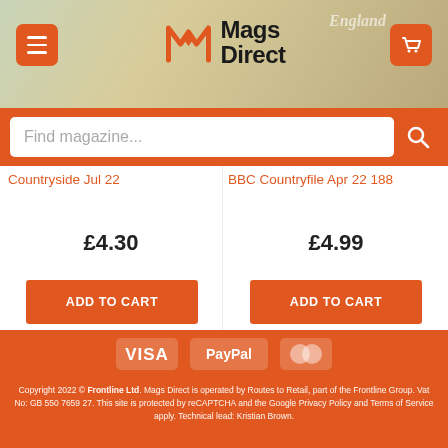[Figure (screenshot): Mags Direct website header with logo, hamburger menu button, cart button, and England map background]
Find magazine...
Countryside Jul 22
£4.30
ADD TO CART
BBC Countryfile Apr 22 188
£4.99
ADD TO CART
[Figure (logo): Payment icons: VISA, PayPal, Mastercard]
NEWS   FAQS   TERMS & CONDITIONS   COOKIE POLICY   PRIVACY POLICY   SHIPPING   RETURNS POLICY
Copyright 2022 © Frontline Ltd. Mags Direct is operated by Routes to Retail, part of the Frontline Group. Vat No: GB 550 7659 27. This site is protected by reCAPTCHA and the Google Privacy Policy and Terms of Service apply. Technical lead: Kristian Brown.